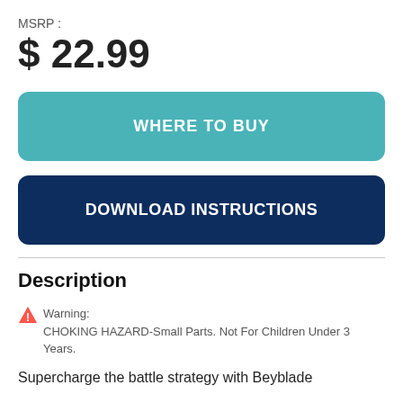MSRP :
$ 22.99
WHERE TO BUY
DOWNLOAD INSTRUCTIONS
Description
⚠ Warning:
CHOKING HAZARD-Small Parts. Not For Children Under 3 Years.
Supercharge the battle strategy with Beyblade